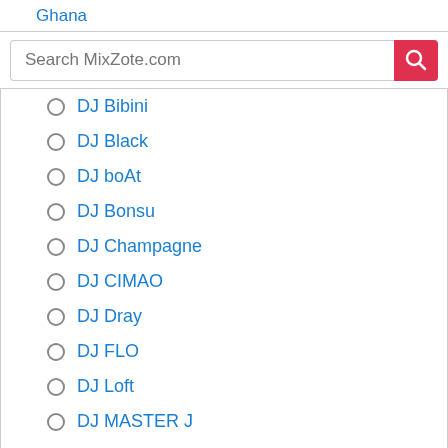Ghana
Search MixZote.com
DJ Bibini
DJ Black
DJ boAt
DJ Bonsu
DJ Champagne
DJ CIMAO
DJ Dray
DJ FLO
DJ Loft
DJ MASTER J
DJ MENSAH
DJ Mic Smith
DJ Pho
DJ Quest Gh